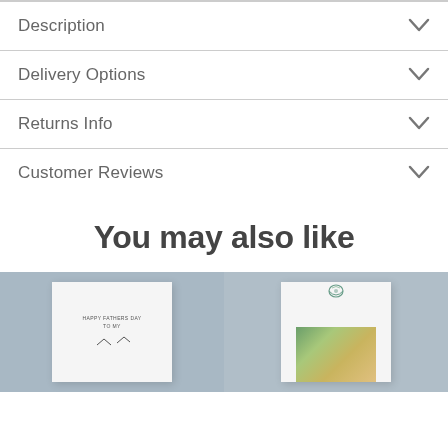Description
Delivery Options
Returns Info
Customer Reviews
You may also like
[Figure (photo): Father's Day greeting card on blue-grey background, showing 'HAPPY FATHERS DAY TO MY' text]
[Figure (photo): Father's Day photo book or card with emblem and family photo on blue-grey background]